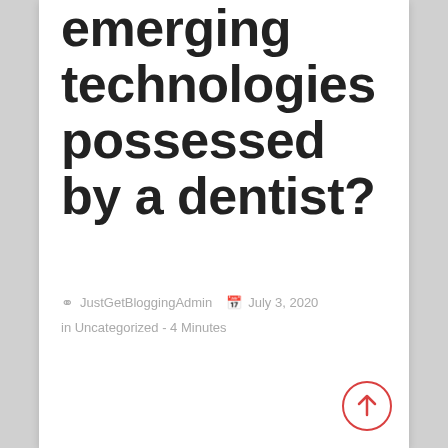emerging technologies possessed by a dentist?
JustGetBloggingAdmin  July 3, 2020 in Uncategorized - 4 Minutes